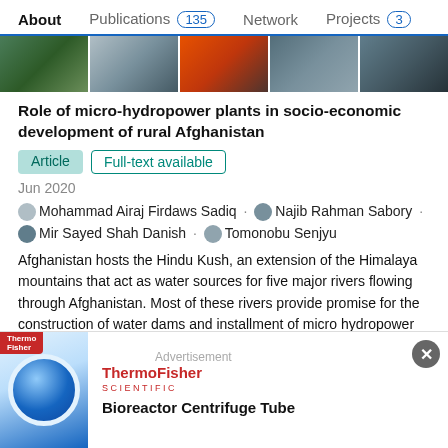About  Publications 135  Network  Projects 3
[Figure (photo): Row of thumbnail images showing outdoor/mountain scenes]
Role of micro-hydropower plants in socio-economic development of rural Afghanistan
Article  Full-text available
Jun 2020
Mohammad Airaj Firdaws Sadiq · Najib Rahman Sabory · Mir Sayed Shah Danish · Tomonobu Senjyu
Afghanistan hosts the Hindu Kush, an extension of the Himalaya mountains that act as water sources for five major rivers flowing through Afghanistan. Most of these rivers provide promise for the construction of water dams and installment of micro hydropower plants (MHP). Although civil war and political strife continue to threaten the country for m
[Figure (advertisement): ThermoFisher Scientific advertisement for Bioreactor Centrifuge Tube]